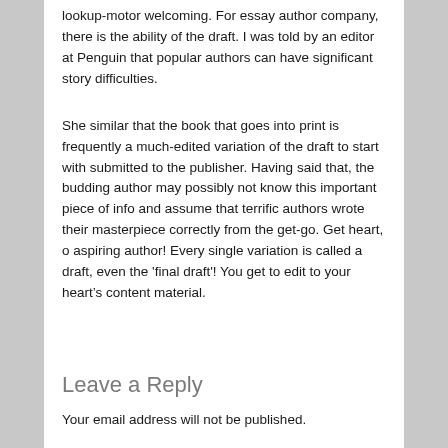lookup-motor welcoming. For essay author company, there is the ability of the draft. I was told by an editor at Penguin that popular authors can have significant story difficulties.
She similar that the book that goes into print is frequently a much-edited variation of the draft to start with submitted to the publisher. Having said that, the budding author may possibly not know this important piece of info and assume that terrific authors wrote their masterpiece correctly from the get-go. Get heart, o aspiring author! Every single variation is called a draft, even the 'final draft'! You get to edit to your heart's content material.
Leave a Reply
Your email address will not be published.